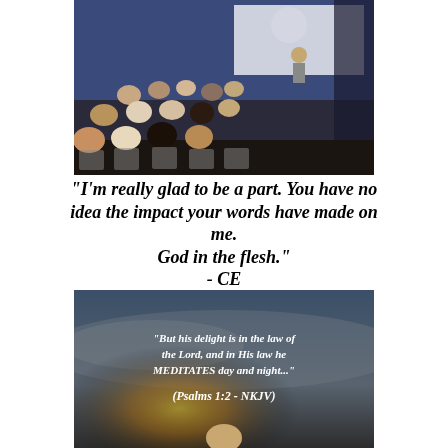[Figure (photo): Audience seated in a dark room watching a presenter at the front near a projection screen, viewed from behind.]
"I'm really glad to be a part. You have no idea the impact your words have made on me.
God in the flesh."
- CE
[Figure (photo): Projection screen showing a Bible verse: "But his delight is in the law of the Lord, and in His law he MEDITATES day and night..." (Psalms 1:2 - NKJV), with a presenter visible at the bottom.]